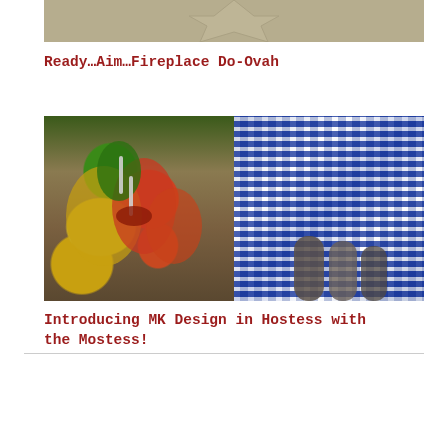[Figure (photo): Top portion of a decorative star-shaped metallic object, partially cropped at top of page]
Ready…Aim…Fireplace Do-Ovah
[Figure (photo): Two side-by-side photos: left shows colorful stuffed bell peppers (green, yellow, red) on a white plate with spoons; right shows blue and white plaid/gingham fabric with dark cylindrical objects]
Introducing MK Design in Hostess with the Mostess!